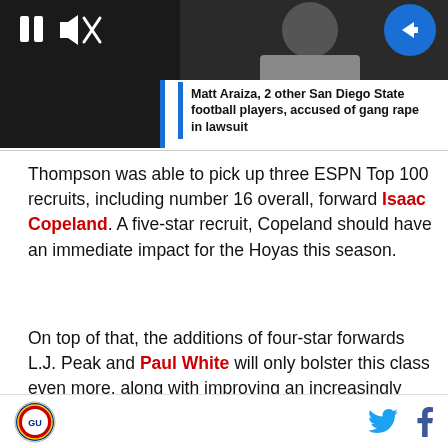[Figure (screenshot): Video thumbnail showing a person in a white t-shirt with playback controls (pause and mute icons) and a blue arrow button]
Matt Araiza, 2 other San Diego State football players, accused of gang rape in lawsuit
Thompson was able to pick up three ESPN Top 100 recruits, including number 16 overall, forward Isaac Copeland. A five-star recruit, Copeland should have an immediate impact for the Hoyas this season.
On top of that, the additions of four-star forwards L.J. Peak and Paul White will only bolster this class even more, along with improving an increasingly talented
Georgetown Hoyas logo | Twitter icon | Facebook icon